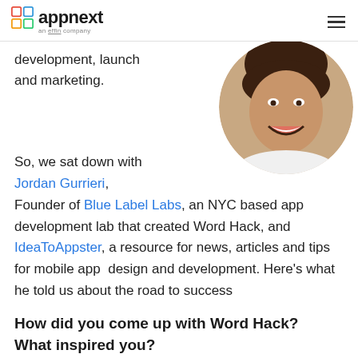appnext — an effin company
development, launch and marketing.
[Figure (photo): Circular portrait photo of Jordan Gurrieri, a smiling man in a white shirt]
So, we sat down with Jordan Gurrieri, Founder of Blue Label Labs, an NYC based app development lab that created Word Hack, and IdeaToAppster, a resource for news, articles and tips for mobile app design and development. Here's what he told us about the road to success
How did you come up with Word Hack? What inspired you?